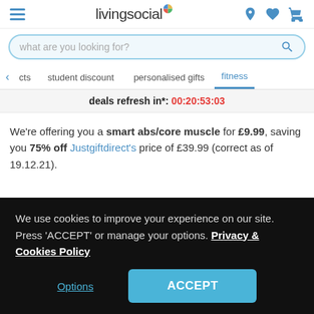[Figure (screenshot): LivingSocial website header with hamburger menu, logo, and icons (location pin, heart, basket)]
[Figure (screenshot): Search bar with placeholder text 'what are you looking for?' and search icon]
cts   student discount   personalised gifts   fitness
deals refresh in*: 00:20:53:03
We're offering you a smart abs/core muscle for £9.99, saving you 75% off Justgiftdirect's price of £39.99 (correct as of 19.12.21).
Share
We use cookies to improve your experience on our site. Press 'ACCEPT' or manage your options. Privacy & Cookies Policy
Options
ACCEPT